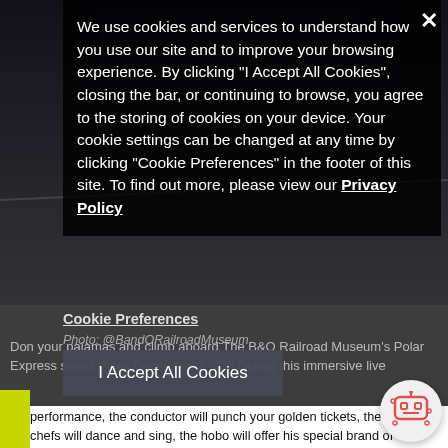[Figure (screenshot): Web browser screenshot showing a cookie consent modal overlay on a website. The background shows a dark photo of what appears to be a railroad museum exhibit. A close (X) button is in the top right corner of the modal.]
We use cookies and services to understand how you use our site and to improve your browsing experience. By clicking "I Accept All Cookies", closing the bar, or continuing to browse, you agree to the storing of cookies on your device. Your cookie settings can be changed at any time by clicking "Cookie Preferences" in the footer of this site. To find out more, please view our Privacy Policy
Cookie Preferences
Photo: @BandORailroadMuseum
I Accept All Cookies
Don your pajamas and climb aboard The B&O Railroad Museum's Polar Express select dates December 2 - 12! During this immersive live performance, the conductor will punch your golden tickets, the chefs will dance and sing, the hobo will offer his special brand of wisdom, and The Polar Express will be read aloud for all passengers. When the train arrives at the North Pole, you'll enjoy Santa's Winter Village with crafts for kids, an array of model railroad layouts, opportunities for photos with Santa, and more!